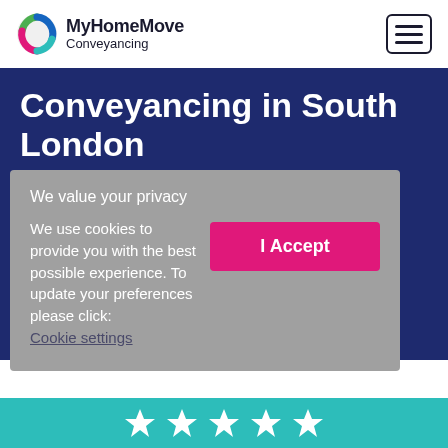[Figure (logo): MyHomeMove Conveyancing logo with circular arrow icon]
Conveyancing in South London
Live chat with us now 24/7
Exclusive 24/7 online tracking system
No move no fee guarantee
Weekend and late night opening hours
We value your privacy
We use cookies to provide you with the best possible experience. To update your preferences please click: Cookie settings
[Figure (other): I Accept button (pink/magenta)]
[Figure (other): Star rating icons row at bottom in teal bar]